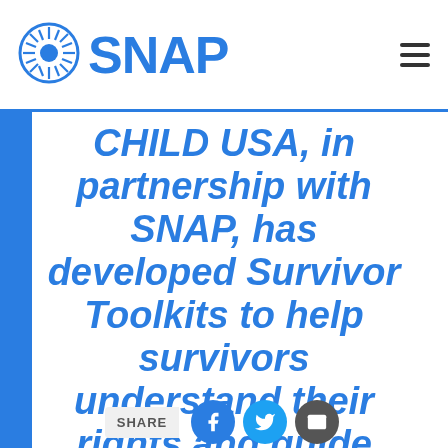SNAP
CHILD USA, in partnership with SNAP, has developed Survivor Toolkits to help survivors understand their rights and guide them through the empowering but challenging process